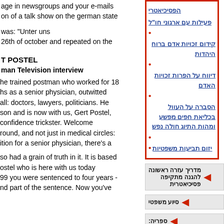age in newsgroups and your e-mails
on of a talk show on the german state
was: "Unter uns
26th of october and repeated on the
T POSTEL
man Television interview
he trained postman who worked for 18
hs as a senior physician, outwitted
all: doctors, lawyers, politicians. He
son and is now with us, Gert Postel,
confidence trickster. Welcome
round, and not just in medical circles:
ition for a senior physician, there's a
so had a grain of truth in it. It is based
ostel who is here with us today
99 you were sentenced to four years -
nd part of the sentence. Now you've
פעילות עם ארגוני חו"ל
קידום זכויות אדם ברוח היהדות
דיווח על הפרות זכויות האדם
הסברה על העוול בכליאת חפים מפשע ומהות התיוג חולה נפש
יזום תביעות משפטיות
מדריך עזרה ראשונה להגנה מתקיפה פסיכיאטרית
סיוע משפטי
ספריה: